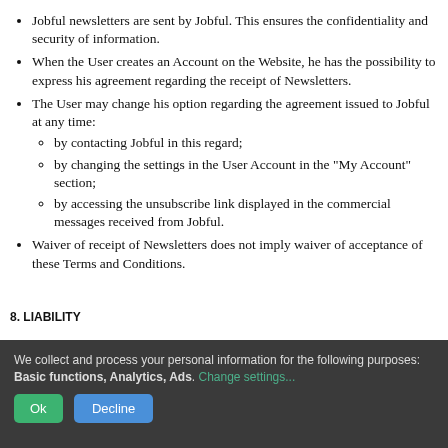Jobful newsletters are sent by Jobful. This ensures the confidentiality and security of information.
When the User creates an Account on the Website, he has the possibility to express his agreement regarding the receipt of Newsletters.
The User may change his option regarding the agreement issued to Jobful at any time: by contacting Jobful in this regard; by changing the settings in the User Account in the "My Account" section; by accessing the unsubscribe link displayed in the commercial messages received from Jobful.
Waiver of receipt of Newsletters does not imply waiver of acceptance of these Terms and Conditions.
8. LIABILITY
We collect and process your personal information for the following purposes: Basic functions, Analytics, Ads. Change settings...